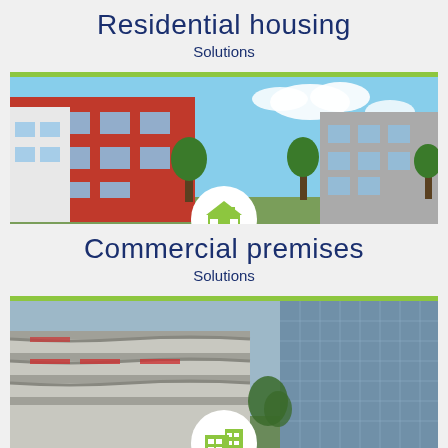Residential housing
Solutions
[Figure (photo): Photograph of modern residential apartment buildings, orange-red brick block on left, grey building on right, green trees, blue sky with clouds. House icon overlay in green on white circle.]
Commercial premises
Solutions
[Figure (photo): Architectural rendering or photograph of commercial building complex with layered parking structure on left and glass facade tower on right, green trees at base. Office building icon overlay in green on white circle.]